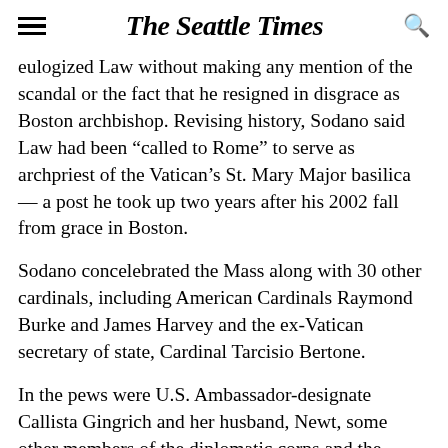The Seattle Times
eulogized Law without making any mention of the scandal or the fact that he resigned in disgrace as Boston archbishop. Revising history, Sodano said Law had been “called to Rome” to serve as archpriest of the Vatican’s St. Mary Major basilica — a post he took up two years after his 2002 fall from grace in Boston.
Sodano concelebrated the Mass along with 30 other cardinals, including American Cardinals Raymond Burke and James Harvey and the ex-Vatican secretary of state, Cardinal Tarcisio Bertone.
In the pews were U.S. Ambassador-designate Callista Gingrich and her husband, Newt, some other members of the diplomatic corps and the Vatican foreign minister, Archbishop Paul…